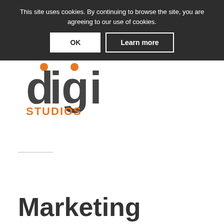This site uses cookies. By continuing to browse the site, you are agreeing to our use of cookies.
[Figure (logo): Digi Studios logo with orange dots above 'i' letters, 'digi' in dark grey large text, 'STUDIOS' in orange below]
Marketing